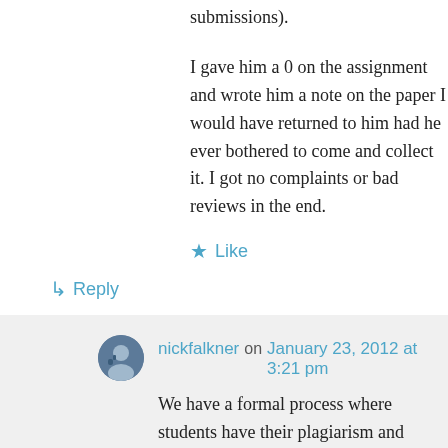submissions).
I gave him a 0 on the assignment and wrote him a note on the paper I would have returned to him had he ever bothered to come and collect it. I got no complaints or bad reviews in the end.
★ Like
↳ Reply
nickfalkner on January 23, 2012 at 3:21 pm
We have a formal process where students have their plagiarism and cheating offences registered centrally so that someone who cheats in my class starts another class with 'one on the books'. Now, to be fair to the